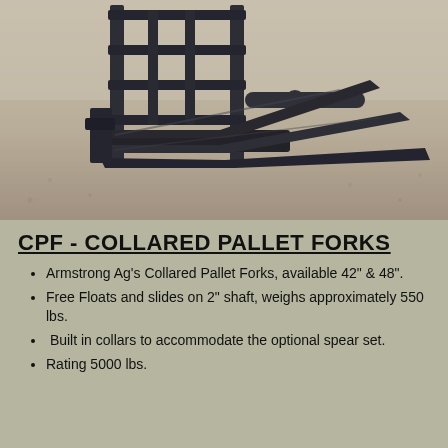[Figure (photo): Photo of Armstrong Ag's Collared Pallet Forks attachment — a black steel pallet fork assembly with three tines and a vertical backrest frame, sitting on a gravel/dirt ground.]
CPF -  COLLARED PALLET FORKS
Armstrong Ag's Collared Pallet Forks, available 42" & 48".
Free Floats and slides on 2" shaft, weighs approximately 550 lbs.
Built in collars to accommodate the optional spear set.
Rating 5000 lbs.